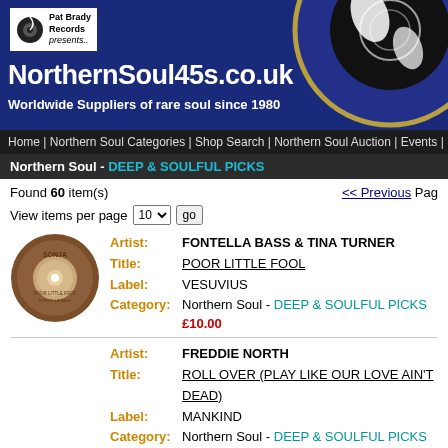[Figure (logo): NorthernSoul45s.co.uk website header banner with Pat Brady Records logo, record graphic, site name and tagline 'Worldwide Suppliers of rare soul since 1980']
Home | Northern Soul Categories | Shop Search | Northern Soul Auction | Events | Mailing
Northern Soul - DEEP & SOULFUL PICKS
Found 60 item(s)
<< Previous Page
View items per page 10 go
[Figure (photo): Sonja label 45rpm vinyl record showing 'Poor Little Fool' by Fontella Bass]
| Field | Value |
| --- | --- |
| Artist: | FONTELLA BASS & TINA TURNER |
| Title: | POOR LITTLE FOOL |
| Label: | VESUVIUS |
| Category: | Northern Soul - DEEP & SOULFUL PICKS |
| Price: | £10.00 |
| Field | Value |
| --- | --- |
| Artist: | FREDDIE NORTH |
| Title: | ROLL OVER (PLAY LIKE OUR LOVE AIN'T DEAD) |
| Label: | MANKIND |
| Category: | Northern Soul - DEEP & SOULFUL PICKS |
| Price: | £8.00 |